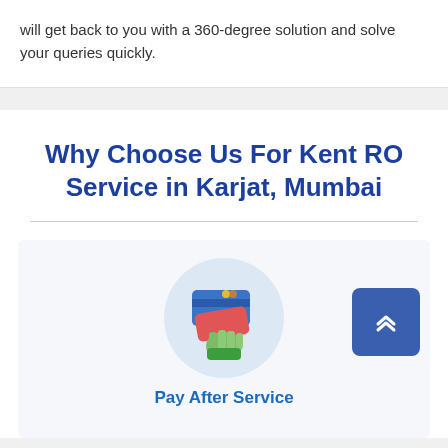will get back to you with a 360-degree solution and solve your queries quickly.
Why Choose Us For Kent RO Service in Karjat, Mumbai
[Figure (illustration): Hand holding credit/debit cards illustration inside a light blue circle]
Pay After Service